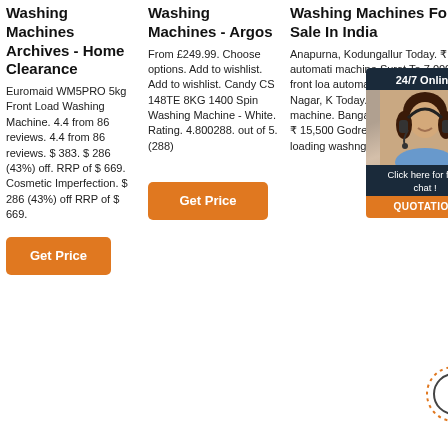Washing Machines Archives - Home Clearance
Euromaid WM5PRO 5kg Front Load Washing Machine. 4.4 from 86 reviews. 4.4 from 86 reviews. $ 383. $ 286 (43%) off. RRP of $ 669. Cosmetic Imperfection. $ 286 (43%) off RRP of $ 669.
Get Price
Washing Machines - Argos
From £249.99. Choose options. Add to wishlist. Add to wishlist. Candy CS 148TE 8KG 1400 Spin Washing Machine - White. Rating. 4.800288. out of 5. (288)
Get Price
Washing Machines For Sale In India
Anapurna, Kodungallur Today. ₹ 4,000 automatic machine Surat Today. 7,000 Hi front load automatic washing available Nagar, K Today. ₹ 1,200 LG washing machine. Bangali Colony, Delhi Today. ₹ 15,500 Godrej fully automatic top loading washing machine.